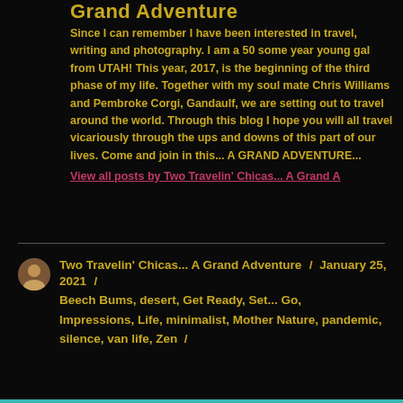Grand Adventure
Since I can remember I have been interested in travel, writing and photography. I am a 50 some year young gal from UTAH! This year, 2017, is the beginning of the third phase of my life. Together with my soul mate Chris Williams and Pembroke Corgi, Gandaulf, we are setting out to travel around the world. Through this blog I hope you will all travel vicariously through the ups and downs of this part of our lives. Come and join in this... A GRAND ADVENTURE...
View all posts by Two Travelin' Chicas... A Grand A
Two Travelin' Chicas... A Grand Adventure / January 25, 2021 / Beech Bums, desert, Get Ready, Set... Go, Impressions, Life, minimalist, Mother Nature, pandemic, silence, van life, Zen /